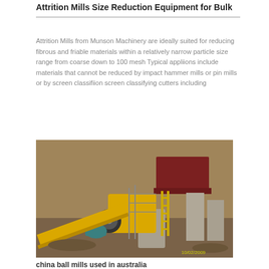Attrition Mills Size Reduction Equipment for Bulk
Attrition Mills from Munson Machinery are ideally suited for reducing fibrous and friable materials within a relatively narrow particle size range from coarse down to 100 mesh Typical appliions include materials that cannot be reduced by impact hammer mills or pin mills or by screen classifiion screen classifying cutters including
[Figure (photo): Outdoor industrial site photograph showing large yellow and red bulk size reduction mill equipment including conveyor belts, a crusher with electric motor drive, red hopper structure, and concrete support structures at a mining or quarry site. Date stamp 10/02/2009 visible in lower right.]
china ball mills used in australia